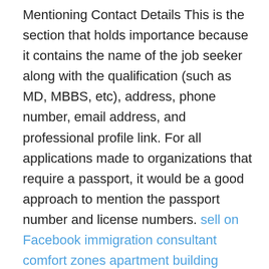Mentioning Contact Details This is the section that holds importance because it contains the name of the job seeker along with the qualification (such as MD, MBBS, etc), address, phone number, email address, and professional profile link. For all applications made to organizations that require a passport, it would be a good approach to mention the passport number and license numbers. sell on Facebook immigration consultant comfort zones apartment building There is no point in going into excessive details as this is only a brief snapshot. Place Your Career Statement Gone are the days when professional summaries and career objectives used to be an accepted trend. The preference has been shifted to the use of minimalistic statements which give a highly concise yet direct indication of one's capabilities and the specific skills that make him the best candidate for the position. Key elements include the targeted work profile, experience, key skills, and the way in which one could contribute to the organization. State Your Certifications and License Stating your national license and professional